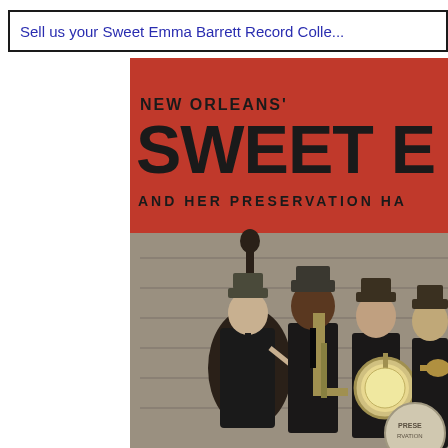Sell us your Sweet Emma Barrett Record Colle...
[Figure (photo): Partial album cover for 'New Orleans' Sweet Emma Barrett and Her Preservation Hall Jazz Band' showing a red top banner with bold text and a black-and-white photograph of jazz musicians including a bassist, trombonist, and others holding instruments.]